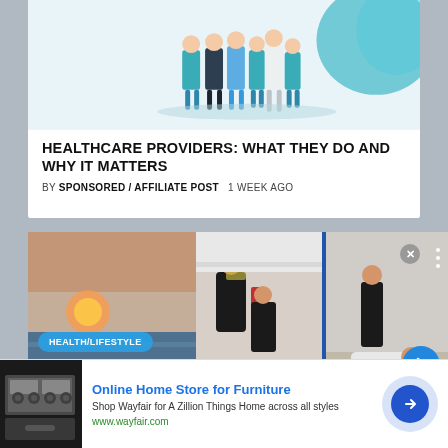[Figure (illustration): Illustration of a group of healthcare providers in scrubs and lab coats]
HEALTHCARE PROVIDERS: WHAT THEY DO AND WHY IT MATTERS
BY SPONSORED / AFFILIATE POST   1 WEEK AGO
[Figure (photo): Health/Lifestyle photo collage: sunset balcony view on left, martial arts training in center, personal trainer with client on right. Caption: 'Facebook founder Mark']
[Figure (photo): Advertisement: Online Home Store for Furniture - Wayfair ad with furniture image, arrow button, and close button]